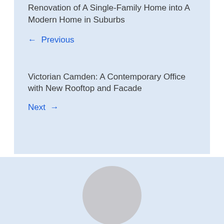Renovation of A Single-Family Home into A Modern Home in Suburbs
← Previous
Victorian Camden: A Contemporary Office with New Rooftop and Facade
Next →
[Figure (illustration): Circular avatar placeholder in grey]
Karin Hoover